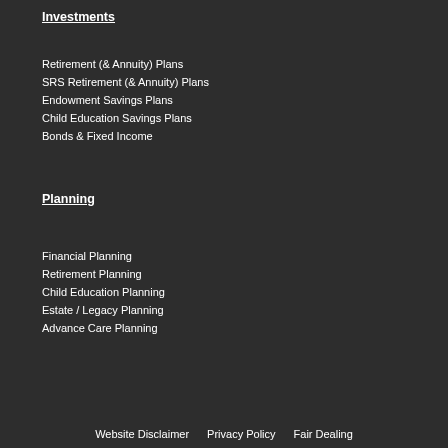Investments
Retirement (& Annuity) Plans
SRS Retirement (& Annuity) Plans
Endowment Savings Plans
Child Education Savings Plans
Bonds & Fixed Income
Planning
Financial Planning
Retirement Planning
Child Education Planning
Estate / Legacy Planning
Advance Care Planning
Website Disclaimer   Privacy Policy   Fair Dealing